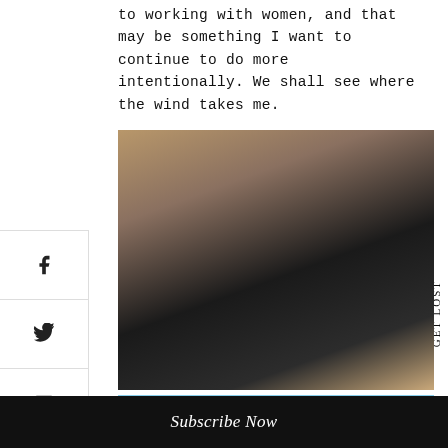to working with women, and that may be something I want to continue to do more intentionally. We shall see where the wind takes me.
[Figure (photo): Young woman in black top standing in a room with white tiled walls, looking to the side. A wooden railing is visible in the foreground.]
[Figure (photo): Top of a person's head with braided hair and red hair accessories, against a blue sky background.]
Subscribe Now